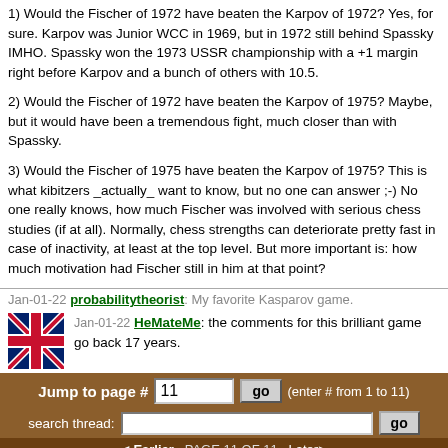1) Would the Fischer of 1972 have beaten the Karpov of 1972? Yes, for sure. Karpov was Junior WCC in 1969, but in 1972 still behind Spassky IMHO. Spassky won the 1973 USSR championship with a +1 margin right before Karpov and a bunch of others with 10.5.
2) Would the Fischer of 1972 have beaten the Karpov of 1975? Maybe, but it would have been a tremendous fight, much closer than with Spassky.
3) Would the Fischer of 1975 have beaten the Karpov of 1975? This is what kibitzers _actually_ want to know, but no one can answer ;-) No one really knows, how much Fischer was involved with serious chess studies (if at all). Normally, chess strengths can deteriorate pretty fast in case of inactivity, at least at the top level. But more important is: how much motivation had Fischer still in him at that point?
Jan-01-22 probabilitytheorist: My favorite Kasparov game.
Jan-01-22 HeMateMe: the comments for this brilliant game go back 17 years.
Jump to page # 11 go (enter # from 1 to 11)
search thread: go
< Earlier · PAGE 11 OF 11 · Later>
NOTE: Create an account today to post replies and access other powerful features which are available only to registered users. Becoming a member is free, anonymous, and takes less than 1 minute! If you already have a username, then simply login login under your
Please observe our posting guidelines: 1. No obscene, racist, sexist, or profane language. 2. No spamming, advertising, duplicate, or gibberish posts. 3. No vitriolic or systematic